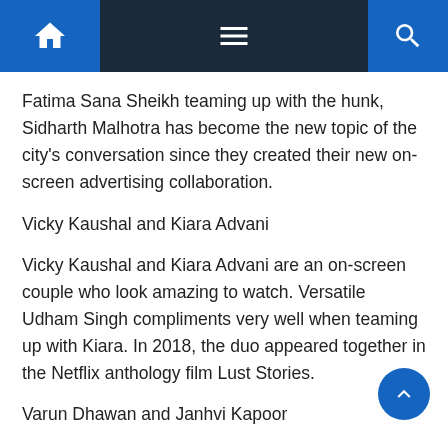Navigation bar with home, menu, and search icons
Fatima Sana Sheikh teaming up with the hunk, Sidharth Malhotra has become the new topic of the city's conversation since they created their new on-screen advertising collaboration.
Vicky Kaushal and Kiara Advani
Vicky Kaushal and Kiara Advani are an on-screen couple who look amazing to watch. Versatile Udham Singh compliments very well when teaming up with Kiara. In 2018, the duo appeared together in the Netflix anthology film Lust Stories.
Varun Dhawan and Janhvi Kapoor
Some time ago, the city of tinsel was inundated with speculation from Varun Dhawan and Janhvi Kapoor working